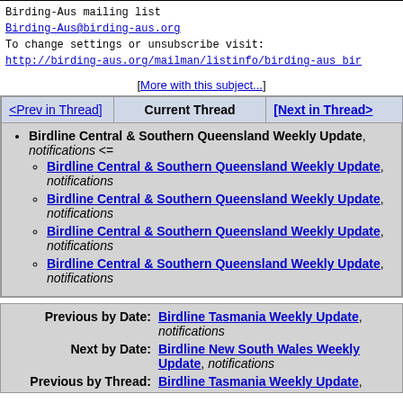Birding-Aus mailing list
Birding-Aus@birding-aus.org
To change settings or unsubscribe visit:
http://birding-aus.org/mailman/listinfo/birding-aus bir
[More with this subject...]
| <Prev in Thread] | Current Thread | [Next in Thread> |
| --- | --- | --- |
Birdline Central & Southern Queensland Weekly Update, notifications <=
Birdline Central & Southern Queensland Weekly Update, notifications
Birdline Central & Southern Queensland Weekly Update, notifications
Birdline Central & Southern Queensland Weekly Update, notifications
Birdline Central & Southern Queensland Weekly Update, notifications
| Label | Value |
| --- | --- |
| Previous by Date: | Birdline Tasmania Weekly Update, notifications |
| Next by Date: | Birdline New South Wales Weekly Update, notifications |
| Previous by Thread: | Birdline Tasmania Weekly Update, |